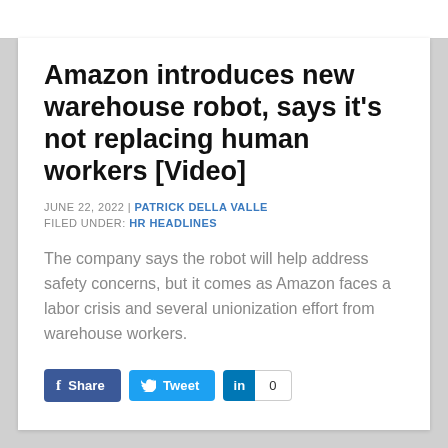Amazon introduces new warehouse robot, says it's not replacing human workers [Video]
JUNE 22, 2022 | PATRICK DELLA VALLE
FILED UNDER: HR HEADLINES
The company says the robot will help address safety concerns, but it comes as Amazon faces a labor crisis and several unionization effort from warehouse workers.